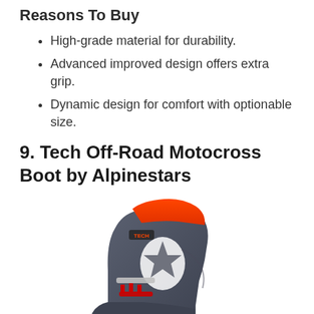Reasons To Buy
High-grade material for durability.
Advanced improved design offers extra grip.
Dynamic design for comfort with optionable size.
9. Tech Off-Road Motocross Boot by Alpinestars
[Figure (photo): A motocross boot by Alpinestars in dark gray and orange/red colorway with white Alpinestars logo, showing the full boot from a side/front angle.]